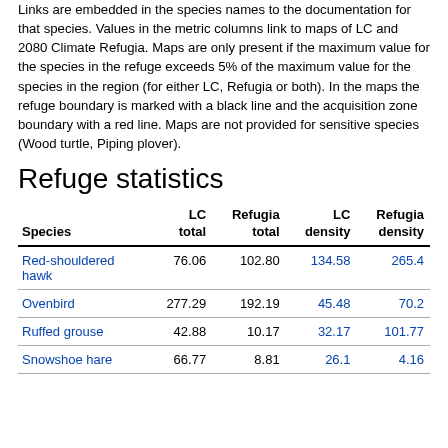Links are embedded in the species names to the documentation for that species. Values in the metric columns link to maps of LC and 2080 Climate Refugia. Maps are only present if the maximum value for the species in the refuge exceeds 5% of the maximum value for the species in the region (for either LC, Refugia or both). In the maps the refuge boundary is marked with a black line and the acquisition zone boundary with a red line. Maps are not provided for sensitive species (Wood turtle, Piping plover).
Refuge statistics
| Species | LC total | Refugia total | LC density | Refugia density |
| --- | --- | --- | --- | --- |
| Red-shouldered hawk | 76.06 | 102.80 | 134.58 | 265.4 |
| Ovenbird | 277.29 | 192.19 | 45.48 | 70.2 |
| Ruffed grouse | 42.88 | 10.17 | 32.17 | 101.77 |
| Snowshoe hare | 66.77 | 8.81 | 26.1 | 4.16 |